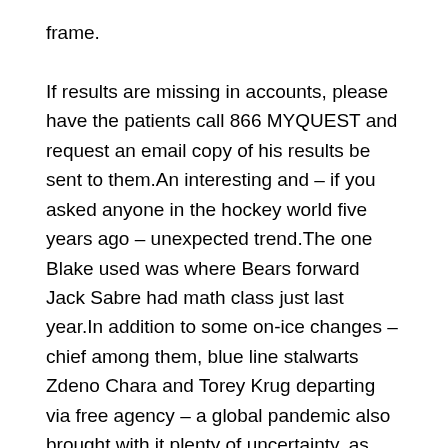frame.

If results are missing in accounts, please have the patients call 866 MYQUEST and request an email copy of his results be sent to them.An interesting and – if you asked anyone in the hockey world five years ago – unexpected trend.The one Blake used was where Bears forward Jack Sabre had math class just last year.In addition to some on-ice changes – chief among them, blue line stalwarts Zdeno Chara and Torey Krug departing via free agency – a global pandemic also brought with it plenty of uncertainty, as doubts arose about whether or not a season could even be completed.Born in 1963 with a humble upbringing in Edmonton, Joseph Moss was the 12th of 13 children born to Lloyd and Sophie Moss.Fisher not only has given additional substantial financial contributions, other